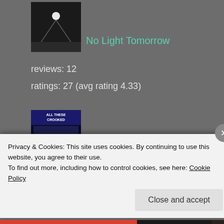[Figure (photo): Book cover for No Light Tomorrow - dark image with light beams]
No Light Tomorrow
reviews: 12
ratings: 27 (avg rating 4.33)
[Figure (photo): Book cover for All These Crooked Streets - dark blue cover with city street]
All These Crooked Streets
reviews: 3
ratings: 9 (avg rating 4.11)
[Figure (photo): Partial book cover at bottom of page]
Privacy & Cookies: This site uses cookies. By continuing to use this website, you agree to their use.
To find out more, including how to control cookies, see here: Cookie Policy
Close and accept